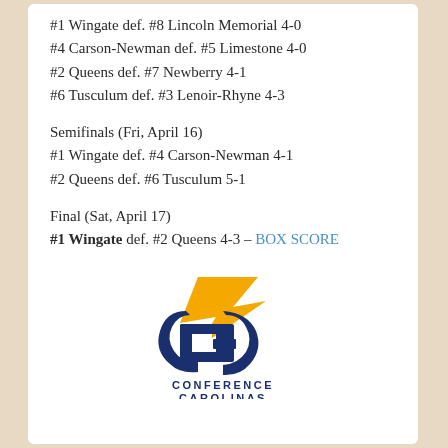#1 Wingate def. #8 Lincoln Memorial 4-0
#4 Carson-Newman def. #5 Limestone 4-0
#2 Queens def. #7 Newberry 4-1
#6 Tusculum def. #3 Lenoir-Rhyne 4-3
Semifinals (Fri, April 16)
#1 Wingate def. #4 Carson-Newman 4-1
#2 Queens def. #6 Tusculum 5-1
Final (Sat, April 17)
#1 Wingate def. #2 Queens 4-3 – BOX SCORE
[Figure (logo): Conference Carolinas logo with stylized CC letters in navy blue and gold/yellow lightning bolt accent, with text CONFERENCE CAROLINAS below]